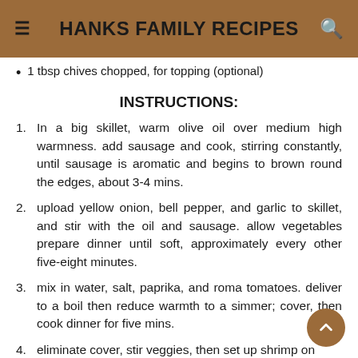HANKS FAMILY RECIPES
1 tbsp chives chopped, for topping (optional)
INSTRUCTIONS:
1. In a big skillet, warm olive oil over medium high warmness. add sausage and cook, stirring constantly, until sausage is aromatic and begins to brown round the edges, about 3-4 mins.
2. upload yellow onion, bell pepper, and garlic to skillet, and stir with the oil and sausage. allow vegetables prepare dinner until soft, approximately every other five-eight minutes.
3. mix in water, salt, paprika, and roma tomatoes. deliver to a boil then reduce warmth to a simmer; cover, then cook dinner for five mins.
4. eliminate cover, stir veggies, then set up shrimp on